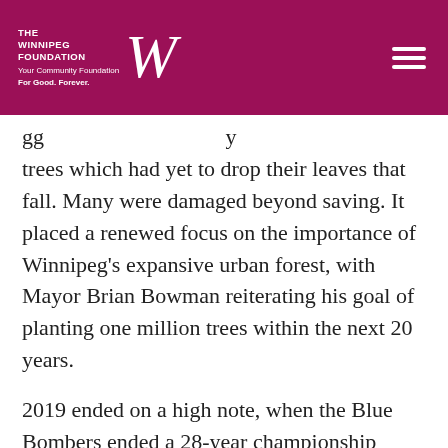THE WINNIPEG FOUNDATION — Your Community Foundation For Good. Forever.
gg p p y trees which had yet to drop their leaves that fall. Many were damaged beyond saving. It placed a renewed focus on the importance of Winnipeg's expansive urban forest, with Mayor Brian Bowman reiterating his goal of planting one million trees within the next 20 years.
2019 ended on a high note, when the Blue Bombers ended a 28-year championship drought by winning the 2019 Grey Cup. Unfortunately, they were unable to defend the title in 2020 as the arrival of COVID-19 meant